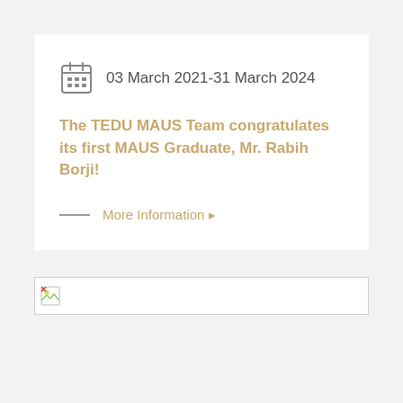03 March 2021-31 March 2024
The TEDU MAUS Team congratulates its first MAUS Graduate, Mr. Rabih Borji!
More Information ▸
[Figure (other): Broken/missing image placeholder, a horizontal banner-style image box with a broken image icon in the top-left corner]